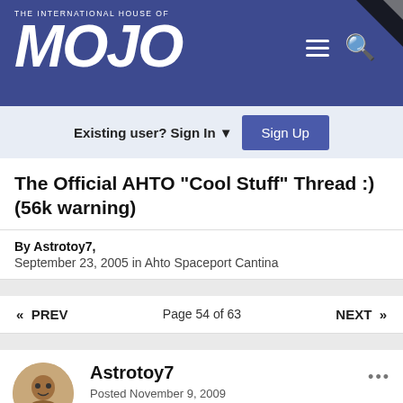THE INTERNATIONAL HOUSE OF MOJO
Existing user? Sign In  Sign Up
The Official AHTO "Cool Stuff" Thread :) (56k warning)
By Astrotoy7,
September 23, 2005 in Ahto Spaceport Cantina
« PREV   Page 54 of 63   NEXT »
Astrotoy7
Posted November 9, 2009